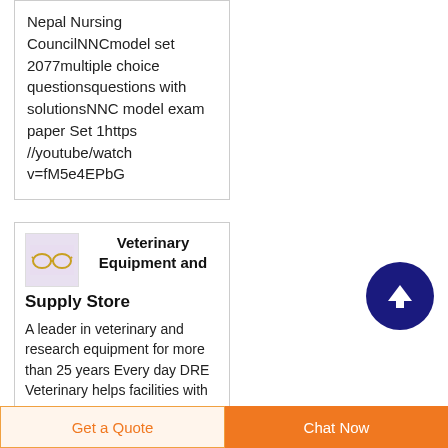Nepal Nursing CouncilNNCmodel set 2077multiple choice questionsquestions with solutionsNNC model exam paper Set 1https //youtube/watch v=fM5e4EPbG
[Figure (other): Small thumbnail image showing veterinary glasses/equipment]
Veterinary Equipment and Supply Store
A leader in veterinary and research equipment for more than 25 years Every day DRE Veterinary helps facilities with
[Figure (other): Dark blue circular scroll-to-top button with white upward arrow]
Get a Quote
Chat Now